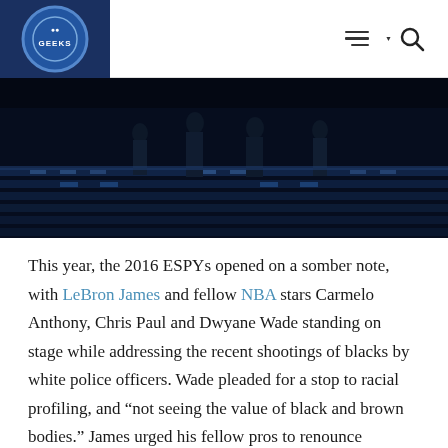GEEKS logo with navigation hamburger menu and search icon
[Figure (photo): Dark blue/navy toned photo of people standing on a stage, appears to be NBA players at the 2016 ESPYs ceremony]
This year, the 2016 ESPYs opened on a somber note, with LeBron James and fellow NBA stars Carmelo Anthony, Chris Paul and Dwyane Wade standing on stage while addressing the recent shootings of blacks by white police officers. Wade pleaded for a stop to racial profiling, and “not seeing the value of black and brown bodies.” James urged his fellow pros to renounce violence.
The NBA stars mention last week’s fatal police shootings of Alton Sterlingin Louisiana and Philando Castile in Minnesota, which Anthony said had sparked “distrust” and “anger” in many Americans. James said it’s time to walk away from just feeling “frustrated” and start to help rebuild divided communities.